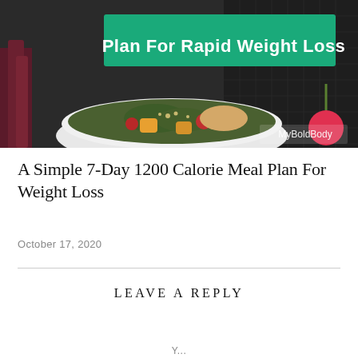[Figure (photo): A bowl of colorful food (salad with roasted vegetables, quinoa, chicken) on a dark background with vegetables around it. Green banner overlay at top reads 'Plan For Rapid Weight Loss'. MyBoldBody watermark in bottom right corner.]
A Simple 7-Day 1200 Calorie Meal Plan For Weight Loss
October 17, 2020
LEAVE A REPLY
Y...